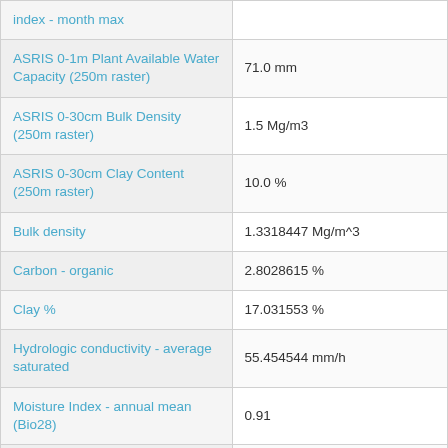| Attribute | Value |
| --- | --- |
| index - month max |  |
| ASRIS 0-1m Plant Available Water Capacity (250m raster) | 71.0 mm |
| ASRIS 0-30cm Bulk Density (250m raster) | 1.5 Mg/m3 |
| ASRIS 0-30cm Clay Content (250m raster) | 10.0 % |
| Bulk density | 1.3318447 Mg/m^3 |
| Carbon - organic | 2.8028615 % |
| Clay % | 17.031553 % |
| Hydrologic conductivity - average saturated | 55.454544 mm/h |
| Moisture Index - annual mean (Bio28) | 0.91 |
| Moisture Index - highest quarter mean (Bio32) | 1.0 |
| Nutrient status | 1.0 index |